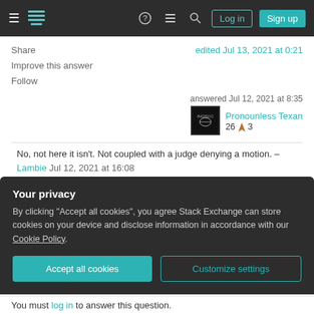Stack Exchange navigation bar with Log in and Sign up buttons
Share    edited Jul 13, 2021 at 0:21
Improve this answer
Follow
answered Jul 12, 2021 at 8:35
Pronounless Texan
26  3
No, not here it isn't. Not coupled with a judge denying a motion. – Lambie Jul 12, 2021 at 16:08
3   Emphasizing words like "allegedly" or "apparently" as a
Your privacy
By clicking "Accept all cookies", you agree Stack Exchange can store cookies on your device and disclose information in accordance with our Cookie Policy.
Accept all cookies    Customize settings
You must log in to answer this question.